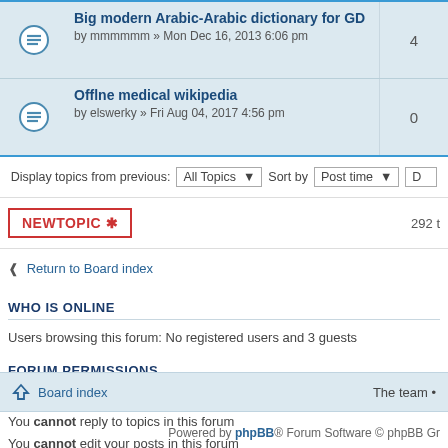Big modern Arabic-Arabic dictionary for GD by mmmmmm » Mon Dec 16, 2013 6:06 pm — 4
Offline medical wikipedia by elswerky » Fri Aug 04, 2017 4:56 pm — 0
Display topics from previous: All Topics ▼ Sort by Post time ▼ D
NEWTOPIC ✱   292 t
❮ Return to Board index
WHO IS ONLINE
Users browsing this forum: No registered users and 3 guests
FORUM PERMISSIONS
You cannot post new topics in this forum
You cannot reply to topics in this forum
You cannot edit your posts in this forum
You cannot delete your posts in this forum
You cannot post attachments in this forum
Board index   The team •
Powered by phpBB® Forum Software © phpBB Gr